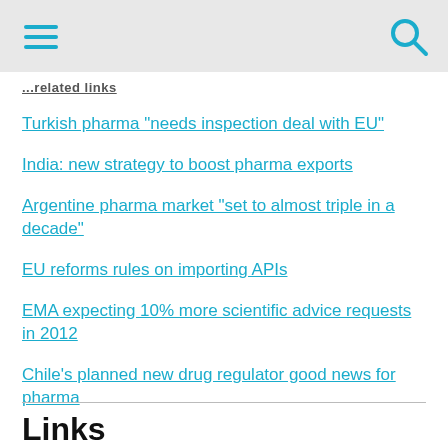...related links
Turkish pharma "needs inspection deal with EU"
India: new strategy to boost pharma exports
Argentine pharma market "set to almost triple in a decade"
EU reforms rules on importing APIs
EMA expecting 10% more scientific advice requests in 2012
Chile's planned new drug regulator good news for pharma
Links